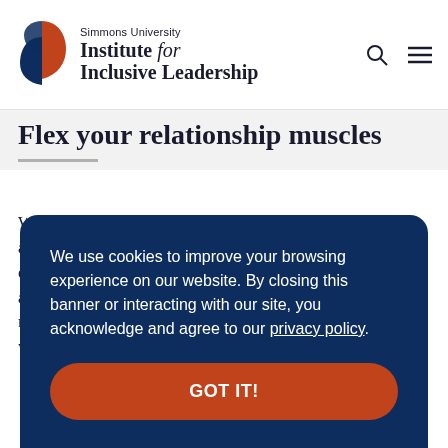[Figure (logo): Simmons University Institute for Inclusive Leadership logo with abstract leaf/shield shape in navy and orange-red]
Simmons University Institute for Inclusive Leadership
Flex your relationship muscles
When your uniqueness, contributions, presence and awareness are valued, chances are you feel cared for. Let’s do more of this. Those of us who have been shy to talk about the connection points between love and leadership now have an opening. With the backing of top CEO’s – who are willing and wanting to talk
We use cookies to improve your browsing experience on our website. By closing this banner or interacting with our site, you acknowledge and agree to our privacy policy.
GOT IT!